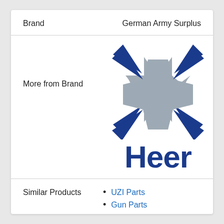|  |  |
| --- | --- |
| Brand | German Army Surplus |
[Figure (logo): German Army Surplus brand logo: Iron Cross (Balkenkreuz) in gray and dark blue, with the word 'Heer' in bold dark blue text below it]
More from Brand
Similar Products
UZI Parts
Gun Parts
Shooting Gear